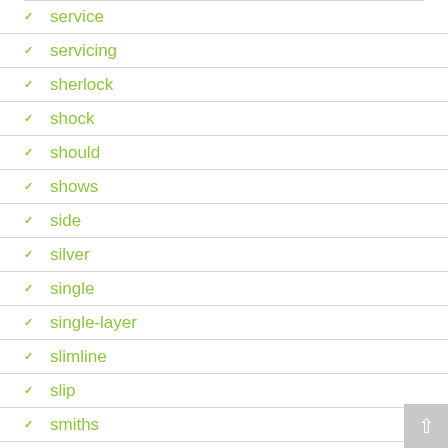service
servicing
sherlock
shock
should
shows
side
silver
single
single-layer
slimline
slip
smiths
smoke